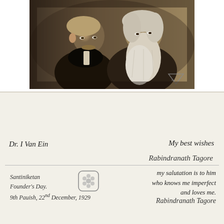[Figure (photo): Sepia-toned photograph of two men sitting together — Albert Einstein on the left and Rabindranath Tagore on the right with a long white beard. A triangle/photographer's stamp is visible in the lower right corner of the photo.]
[Figure (illustration): Decorative handwritten flourish/bird-like calligraphic drawing in pencil or ink, centered on the card.]
Dr. I Van Ein
My best wishes
Rabindranath Tagore
[Figure (logo): Small square stamp/logo with a floral or star pattern inside a rounded square border.]
my salutation is to him
who knows me imperfect
and loves me.
Rabindranath Tagore
Santiniketan
Founder's Day.
9th Pauish, 22nd December, 1929